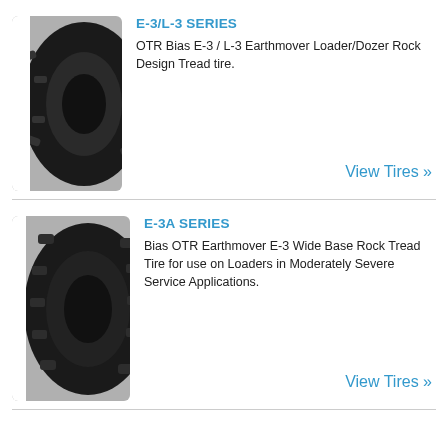[Figure (photo): OTR bias tire E-3/L-3 series, large black tire with rock tread pattern, shown from side angle]
E-3/L-3 SERIES
OTR Bias E-3 / L-3 Earthmover Loader/Dozer Rock Design Tread tire.
View Tires »
[Figure (photo): Bias OTR Earthmover E-3A series tire, large black tire with wide base rock tread, shown from side angle]
E-3A SERIES
Bias OTR Earthmover E-3 Wide Base Rock Tread Tire for use on Loaders in Moderately Severe Service Applications.
View Tires »